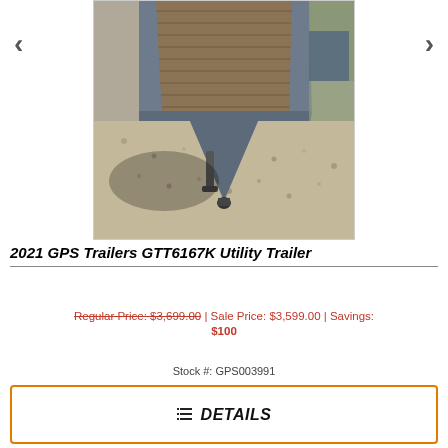[Figure (photo): Photo of a 2021 GPS Trailers GTT6167K Utility Trailer viewed from rear, showing wooden deck planks, gray steel frame, tow hitch, and gravel/outdoor background with shadows.]
2021 GPS Trailers GTT6167K Utility Trailer
Regular Price: $3,699.00 | Sale Price: $3,599.00 | Savings: $100
Stock #: GPS003991
DETAILS